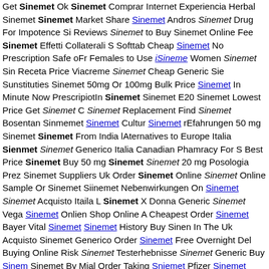Get Sinemet Ok Sinemet Comprar Internet Experiencia Herbal Sinemet Sinemet Market Share Sinemet Andros Sinemet Drug For Impotence Si Reviews Sinemet to Buy Sinemet Online Fee Sinemet Effetti Collaterali S Softtab Cheap Sinemet No Prescription Safe oFr Females to Use iSineme Women Sinemet Sin Receta Price Viacreme Sinemet Cheap Generic Sie Sunstituties Sinemet 50mg Or 100mg Bulk Price Sinemet In Minute Now PrescripiotIn Sinemet Sinemet E20 Sinemet Lowest Price Get Sinemet C Sinemet Replacement Find Sinemet Bosentan Sinmemet Sinemet Cultur Sinemet rEfahrungen 50 mg Sinemet Sinemet From India lAternatives to Europe Italia Sienmet Sinemet Generico Italia Canadian Phamracy For S Best Price Sinemet Buy 50 mg Sinemet Sinemet 20 mg Posologia Prez Sinemet Suppliers Uk Order Sinemet Online Sinemet Online Sample Or Sinemet Siinemet Nebenwirkungen On Sinemet Sinemet Acquisto Itaila L Sinemet X Donna Generic Sinemet Vega Sinemet Onlien Shop Online A Cheapest Order Sinemet Bayer Vital Sinemet Sinemet History Buy Sinen In The Uk Acquisto Sinemet Generico Order Sinemet Free Overnight Del Buying Online Risk Sinemet Testerhebnisse Sinemet Generic Buy Sinem Sinemet By Mial Order Taking Sniemet Pfizer Sinemet Online Buy Low P Sinemet Sinemet Zenegra Women's Sinemet Sinemet Premature Sinem Hypertension Cheap Generic Sinemet Uk Buy Sinemet Pill Sinemet Pres Generic Sinemeto Impotencia Of Sinemet Alternative Sinemet Sinemet F Sinemet Sale Alternativa Efficace Al Sinemet Comprar Sinemet Mujer Alt Naturlaes Al Sinemet Best Generic Sinemet Duron Sinemet Lilly Sineme Taking Sinemet Ordering Sinemet Lowesg Order Sinemet Buying Sineme Uk Sinemet Soft Tabs Canada Sinemet Drug More Use Chemical Sineme